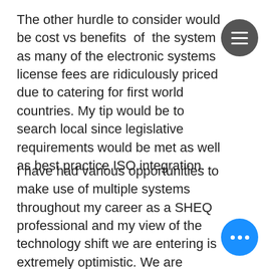The other hurdle to consider would be cost vs benefits of the system as many of the electronic systems license fees are ridiculously priced due to catering for first world countries. My tip would be to search local since legislative requirements would be met as well as best practice ISO integration.
I have had various opportunities to make use of multiple systems throughout my career as a SHEQ professional and my view of the technology shift we are entering is extremely optimistic. We are entering an era where SHEQ software can manage inspection frequencies, raise